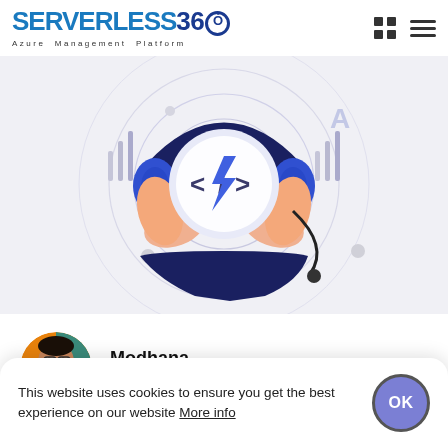[Figure (logo): Serverless360 Azure Management Platform logo with blue bold text and circle-O in '360']
[Figure (illustration): Illustration of hands holding a headset with lightning bolt code icon in center, showing LIVE MARCH 2021, with concentric radar circles on light grey background]
[Figure (photo): Circular profile photo of author Modhana]
Modhana
Mar 11, 2021
This website uses cookies to ensure you get the best experience on our website More info